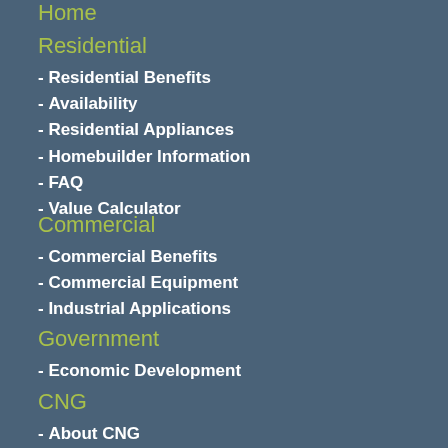Home
Residential
- Residential Benefits
- Availability
- Residential Appliances
- Homebuilder Information
- FAQ
- Value Calculator
Commercial
- Commercial Benefits
- Commercial Equipment
- Industrial Applications
Government
- Economic Development
CNG
- About CNG
- Commercial Fleets
- Residential CNG Applications
- CNG Availability